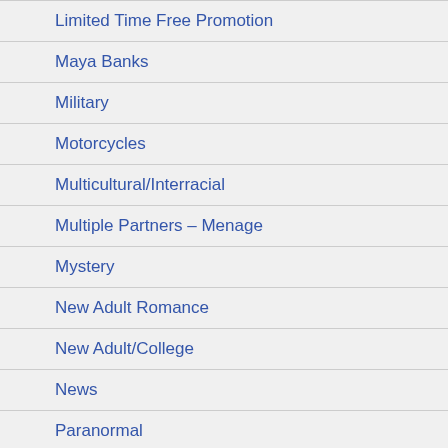Limited Time Free Promotion
Maya Banks
Military
Motorcycles
Multicultural/Interracial
Multiple Partners – Menage
Mystery
New Adult Romance
New Adult/College
News
Paranormal